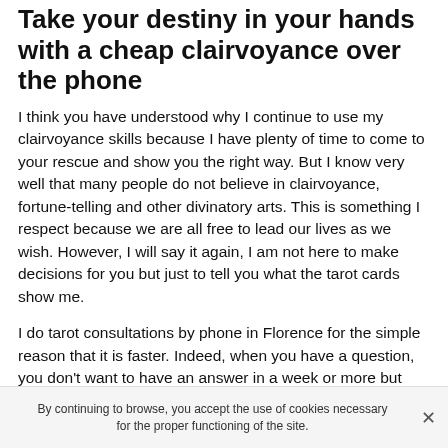Take your destiny in your hands with a cheap clairvoyance over the phone
I think you have understood why I continue to use my clairvoyance skills because I have plenty of time to come to your rescue and show you the right way. But I know very well that many people do not believe in clairvoyance, fortune-telling and other divinatory arts. This is something I respect because we are all free to lead our lives as we wish. However, I will say it again, I am not here to make decisions for you but just to tell you what the tarot cards show me.
I do tarot consultations by phone in Florence for the simple reason that it is faster. Indeed, when you have a question, you don't want to have an answer in a week or more but right away. So by dialing the phone number of my tarot reader's office in Florence, you will be put in contact
By continuing to browse, you accept the use of cookies necessary for the proper functioning of the site.